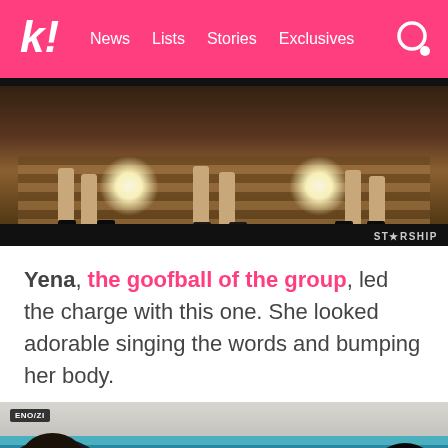k! News Lists Stories Exclusives
[Figure (photo): Music video still showing performers' legs on a stage with stairs, Starship Entertainment watermark in corner]
Yena, the goofball of the group, led the charge with this one. She looked adorable singing the words and bumping her body.
[Figure (photo): Video thumbnail showing girls inside a bus/vehicle interior, with a play button overlay. A label reading ENO/ZI in the top left corner.]